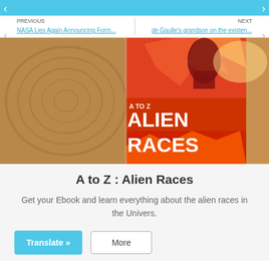PREVIOUS | NASA Lies Again Announcing Form... | de Gaulle's grandson on the existen... | NEXT
[Figure (photo): Book cover of 'A to Z: Alien Races' showing the book propped on a wooden surface with dramatic fire and alien imagery on the cover.]
A to Z : Alien Races
Get your Ebook and learn everything about the alien races in the Univers.
Translate »  More